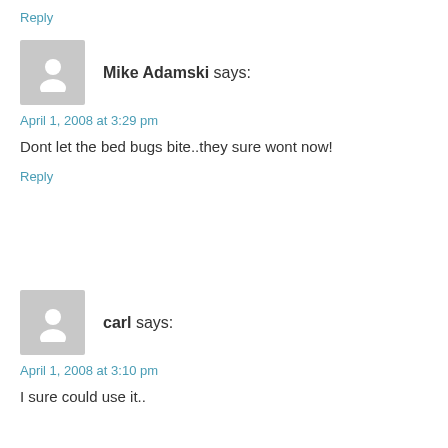Reply
[Figure (illustration): Gray placeholder avatar icon for Mike Adamski]
Mike Adamski says:
April 1, 2008 at 3:29 pm
Dont let the bed bugs bite..they sure wont now!
Reply
[Figure (illustration): Gray placeholder avatar icon for carl]
carl says:
April 1, 2008 at 3:10 pm
I sure could use it..